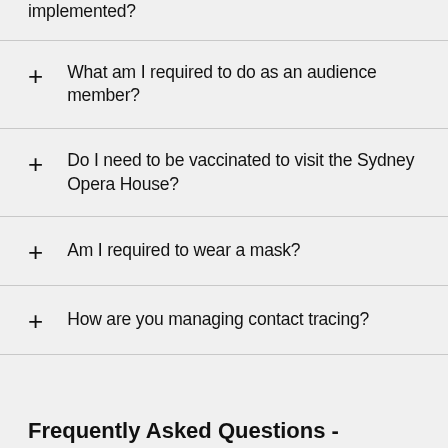implemented?
What am I required to do as an audience member?
Do I need to be vaccinated to visit the Sydney Opera House?
Am I required to wear a mask?
How are you managing contact tracing?
Frequently Asked Questions -